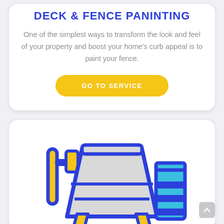DECK & FENCE PANINTING
One of the simplest ways to transform the look and feel of your property and boost your home's curb appeal is to paint your fence.
GO TO SERVICE
[Figure (illustration): Colorful icon illustration of a concrete mixer with a blue and yellow paint roller on the left and a blue paint can on the right. The mixer drum is gray with dark blue outlines and yellow accents at the base.]